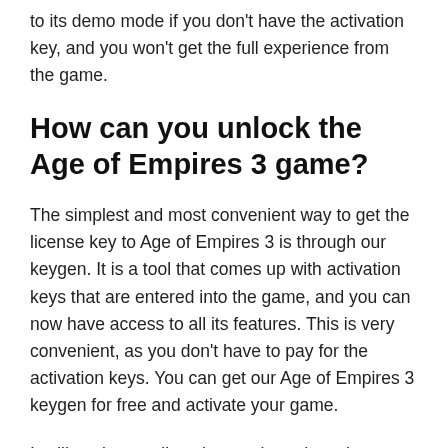to its demo mode if you don't have the activation key, and you won't get the full experience from the game.
How can you unlock the Age of Empires 3 game?
The simplest and most convenient way to get the license key to Age of Empires 3 is through our keygen. It is a tool that comes up with activation keys that are entered into the game, and you can now have access to all its features. This is very convenient, as you don't have to pay for the activation keys. You can get our Age of Empires 3 keygen for free and activate your game.
It will work as well as the purchased version once the activation is complete. You can thus make any